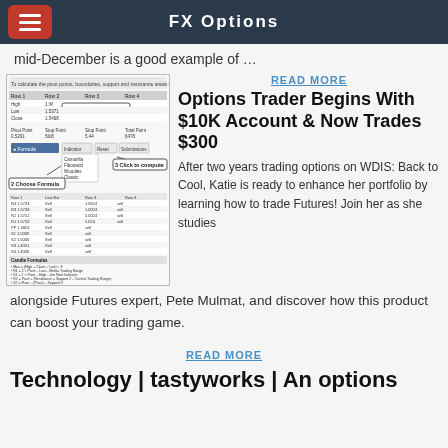FX Options
mid-December is a good example of …
[Figure (screenshot): Screenshot of a spreadsheet or trading tool showing columns of data with labels '1 Enter High, Low, Close', '2 Choose Formula', '3 Click to compute' and Candle Formulas listed below]
READ MORE
Options Trader Begins With $10K Account & Now Trades $300
After two years trading options on WDIS: Back to Cool, Katie is ready to enhance her portfolio by learning how to trade Futures! Join her as she studies alongside Futures expert, Pete Mulmat, and discover how this product can boost your trading game.
READ MORE
Technology | tastyworks | An options